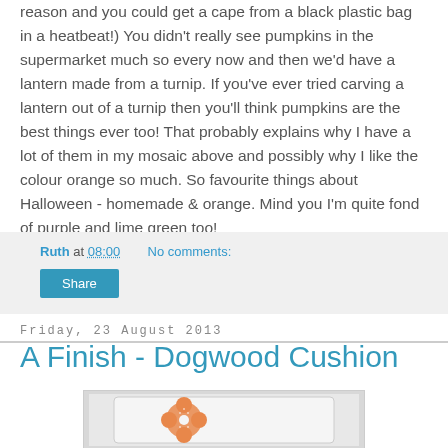reason and you could get a cape from a black plastic bag in a heatbeat!)  You didn't really see pumpkins in the supermarket much so every now and then we'd have a lantern made from a turnip.  If you've ever tried carving a lantern out of a turnip then you'll think pumpkins are the best things ever too!  That probably explains why I have a lot of them in my mosaic above and possibly why I like the colour orange so much.  So favourite things about Halloween - homemade & orange.  Mind you I'm quite fond of purple and lime green too!
Ruth at 08:00    No comments:
Share
Friday, 23 August 2013
A Finish - Dogwood Cushion
[Figure (photo): A white cushion with an orange decorative applique design, photographed against a light background]